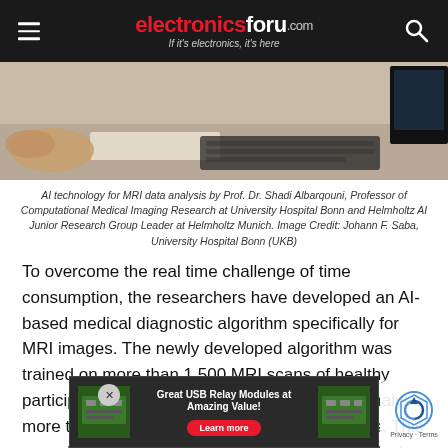electronicsforu.com — If it's electronics, it's here
[Figure (photo): Desk scene showing hands, papers, keyboard and monitor — representing AI technology for MRI data analysis research environment]
AI technology for MRI data analysis by Prof. Dr. Shadi Albarqouni, Professor of Computational Medical Imaging Research at University Hospital Bonn and Helmholtz AI Junior Research Group Leader at Helmholtz Munich. Image Credit: Johann F. Saba, University Hospital Bonn (UKB)
To overcome the real time challenge of time consumption, the researchers have developed an AI-based medical diagnostic algorithm specifically for MRI images. The newly developed algorithm was trained on more than 1,500 MRI scans of healthy participants. Then this algorithm was used to analyse more than 500 scans to detect various diseases. This new algorithm helps the medical industry by reducing the time taken for... require a... ...gy, the